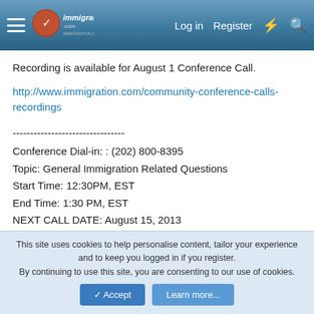immigration.com | Log in | Register
Recording is available for August 1 Conference Call.
http://www.immigration.com/community-conference-calls-recordings
--------------------------------
Conference Dial-in: : (202) 800-8395
Topic: General Immigration Related Questions
Start Time: 12:30PM, EST
End Time: 1:30 PM, EST
NEXT CALL DATE: August 15, 2013
-------------------------------------------------------
NOTE: This call does not mean that we have agreed to
This site uses cookies to help personalise content, tailor your experience and to keep you logged in if you register.
By continuing to use this site, you are consenting to our use of cookies.